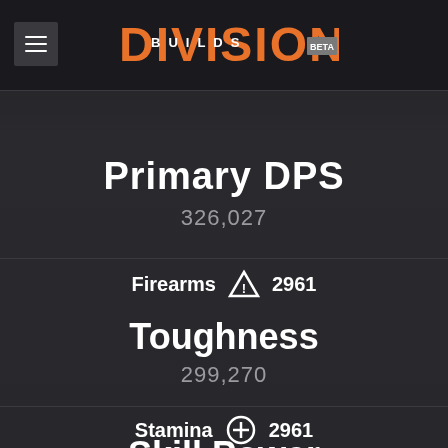[Figure (logo): Division Builds BETA logo with DIVISION in orange bold uppercase letters, BUILDS in white smaller letters overlaid, and BETA in a grey badge]
Primary DPS
326,027
Firearms △ 2961
Toughness
299,270
Stamina ⊕ 2961
Skill Power